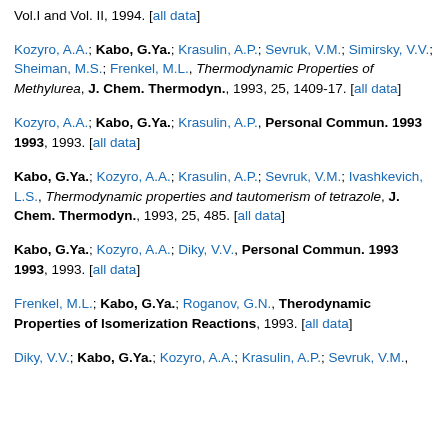Vol.I and Vol. II, 1994. [all data]
Kozyro, A.A.; Kabo, G.Ya.; Krasulin, A.P.; Sevruk, V.M.; Simirsky, V.V.; Sheiman, M.S.; Frenkel, M.L., Thermodynamic Properties of Methylurea, J. Chem. Thermodyn., 1993, 25, 1409-17. [all data]
Kozyro, A.A.; Kabo, G.Ya.; Krasulin, A.P., Personal Commun. 1993 1993, 1993. [all data]
Kabo, G.Ya.; Kozyro, A.A.; Krasulin, A.P.; Sevruk, V.M.; Ivashkevich, L.S., Thermodynamic properties and tautomerism of tetrazole, J. Chem. Thermodyn., 1993, 25, 485. [all data]
Kabo, G.Ya.; Kozyro, A.A.; Diky, V.V., Personal Commun. 1993 1993, 1993. [all data]
Frenkel, M.L.; Kabo, G.Ya.; Roganov, G.N., Therodynamic Properties of Isomerization Reactions, 1993. [all data]
Diky, V.V.; Kabo, G.Ya.; Kozyro, A.A.; Krasulin, A.P.; Sevruk, V.M.,